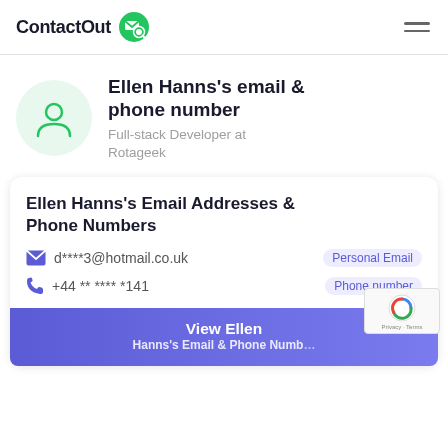ContactOut
Ellen Hanns's email & phone number
Full-stack Developer at Rotageek
Ellen Hanns's Email Addresses & Phone Numbers
d****3@hotmail.co.uk  Personal Email
+44 ** **** *141  Phone number
View Ellen